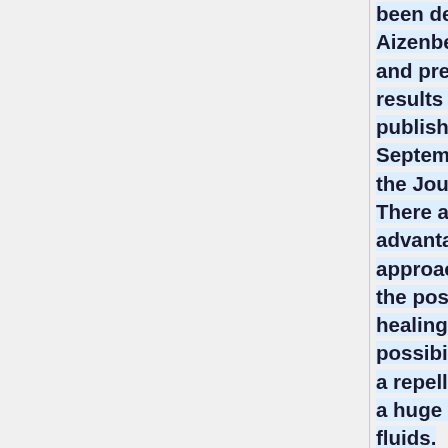been developed by Aizenberg's group and preliminary results will be published on 22nd September edition of the Journal Nature. There are many advantages to this approach, such as the possibility of self-healing, and the possibility of creating a repellent surface to a huge variety of fluids.